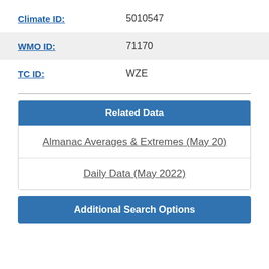Climate ID: 5010547
WMO ID: 71170
TC ID: WZE
Related Data
Almanac Averages & Extremes (May 20)
Daily Data (May 2022)
Additional Search Options